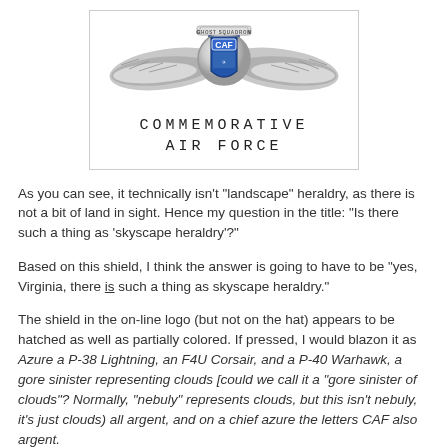[Figure (logo): Commemorative Air Force Ghost Squadron logo with wings and CAF shield, with text 'COMMEMORATIVE AIR FORCE' below in spaced monospace lettering]
As you can see, it technically isn't "landscape" heraldry, as there is not a bit of land in sight. Hence my question in the title: "Is there such a thing as 'skyscape heraldry'?"
Based on this shield, I think the answer is going to have to be "yes, Virginia, there is such a thing as skyscape heraldry."
The shield in the on-line logo (but not on the hat) appears to be hatched as well as partially colored. If pressed, I would blazon it as Azure a P-38 Lightning, an F4U Corsair, and a P-40 Warhawk, a gore sinister representing clouds [could we call it a "gore sinister of clouds"? Normally, "nebuly" represents clouds, but this isn't nebuly, it's just clouds) all argent, and on a chief azure the letters CAF also argent.